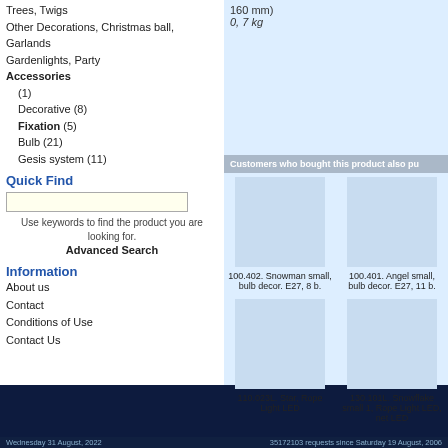Trees, Twigs
Other Decorations, Christmas ball, Garlands
Gardenlights, Party
Accessories
(1)
Decorative (8)
Fixation (5)
Bulb (21)
Gesis system (11)
Quick Find
Use keywords to find the product you are looking for.
Advanced Search
Information
About us
Contact
Conditions of Use
Contact Us
160 mm)
0, 7 kg
Customers who bought this product also pu
100.402. Snowman small, bulb decor. E27, 8 b.
100.401. Angel small, bulb decor. E27, 11 b.
110.023L. Star, Rope Light LED
130.101L. Snowflake small 1, Rope Light LED, net LED
Wednesday 31 August, 2022    35172103 requests since Saturday 19 August, 2006